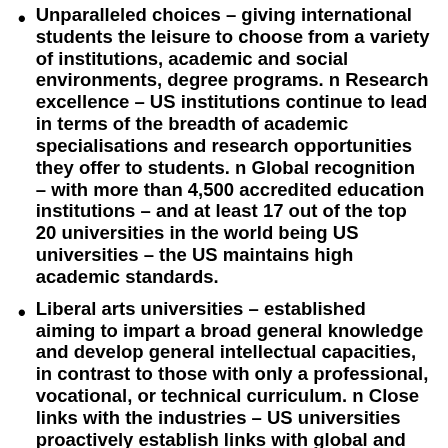Unparalleled choices – giving international students the leisure to choose from a variety of institutions, academic and social environments, degree programs. n Research excellence – US institutions continue to lead in terms of the breadth of academic specialisations and research opportunities they offer to students. n Global recognition – with more than 4,500 accredited education institutions – and at least 17 out of the top 20 universities in the world being US universities – the US maintains high academic standards.
Liberal arts universities – established aiming to impart a broad general knowledge and develop general intellectual capacities, in contrast to those with only a professional, vocational, or technical curriculum. n Close links with the industries – US universities proactively establish links with global and local companies to promote